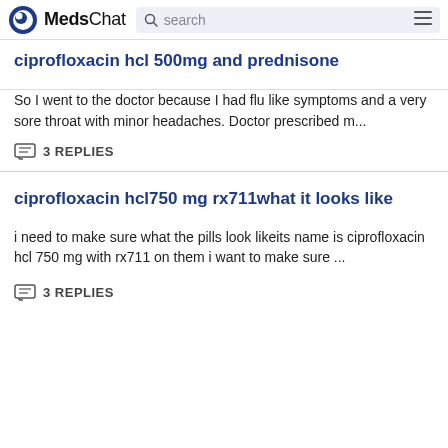MedsChat search
ciprofloxacin hcl 500mg and prednisone
So I went to the doctor because I had flu like symptoms and a very sore throat with minor headaches. Doctor prescribed m...
3 REPLIES
ciprofloxacin hcl750 mg rx711what it looks like
i need to make sure what the pills look likeits name is ciprofloxacin hcl 750 mg with rx711 on them i want to make sure ...
3 REPLIES